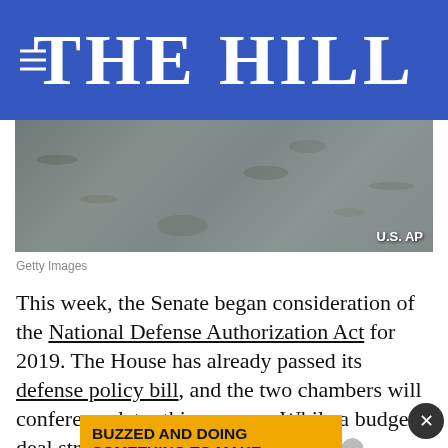THE HILL
[Figure (photo): Military personnel in camouflage uniforms, partial view of torsos and collars. Watermark reads 'U.S. AP' in lower right.]
Getty Images
This week, the Senate began consideration of the National Defense Authorization Act for 2019. The House has already passed its defense policy bill, and the two chambers will conference later this summer. While a budget deal struck previously meant that the bipartisan... there... Defense Department that must be reconciled
[Figure (other): Advertisement banner: 'BUZZED AND DOING SOMETHING TO MAKE YOURSELF OKAY TO DRIVE?' with close (X) button overlay]